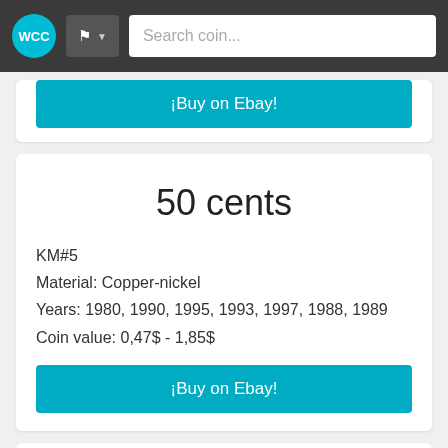WCC | Flag dropdown | Search coin...
¡Buy on Ebay!
50 cents
KM#5
Material: Copper-nickel
Years: 1980, 1990, 1995, 1993, 1997, 1988, 1989
Coin value: 0,47$ - 1,85$
¡Buy on Ebay!
50 centavos
KM#5a